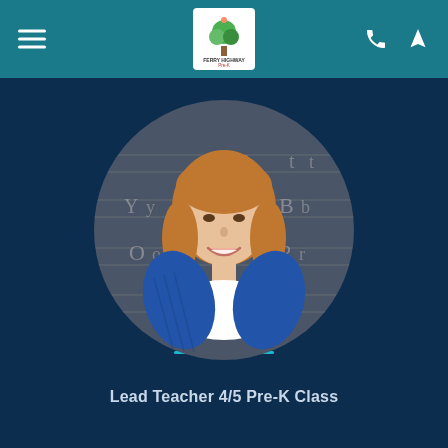Ferry Highway Lutheran Pre-K navigation bar with logo
[Figure (photo): Circular profile photo of Patricia Bruce, a woman with reddish-brown shoulder-length hair, wearing a blue cardigan over a white top, smiling, with a chalkboard showing cursive letter practice in the background]
Patricia Bruce
Lead Teacher 4/5 Pre-K Class